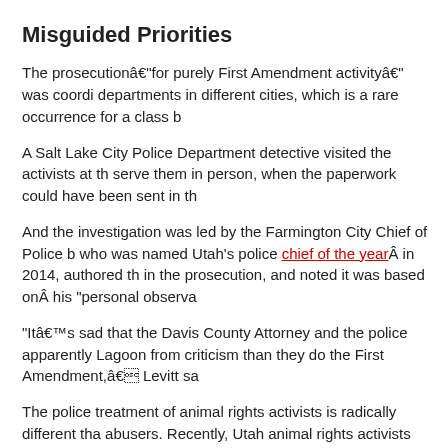Misguided Priorities
The prosecutionâ€“for purely First Amendment activityâ€” was coordinated between police departments in different cities, which is a rare occurrence for a class b
A Salt Lake City Police Department detective visited the activists at th serve them in person, when the paperwork could have been sent in th
And the investigation was led by the Farmington City Chief of Police b who was named Utah’s police chief of the yearÂ in 2014, authored th in the prosecution, and noted it was based onÂ his “personal observa
“Itâ€™s sad that the Davis County Attorney and the police apparently Lagoon from criticism than they do the First Amendment,â€ Levitt sa
The police treatment of animal rights activists is radically different tha abusers. Recently, Utah animal rights activists made international ne wrestling” competition, and some of the confederate-flag-waving wres slammed them to the ground.